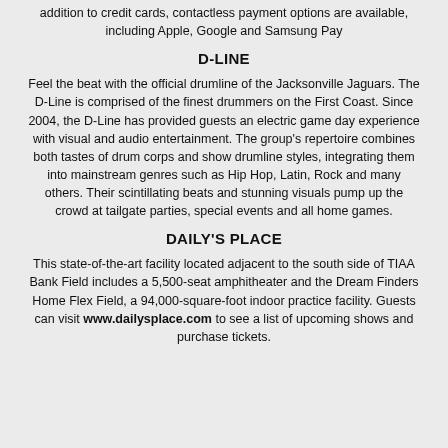addition to credit cards, contactless payment options are available, including Apple, Google and Samsung Pay
D-LINE
Feel the beat with the official drumline of the Jacksonville Jaguars. The D-Line is comprised of the finest drummers on the First Coast. Since 2004, the D-Line has provided guests an electric game day experience with visual and audio entertainment. The group's repertoire combines both tastes of drum corps and show drumline styles, integrating them into mainstream genres such as Hip Hop, Latin, Rock and many others. Their scintillating beats and stunning visuals pump up the crowd at tailgate parties, special events and all home games.
DAILY'S PLACE
This state-of-the-art facility located adjacent to the south side of TIAA Bank Field includes a 5,500-seat amphitheater and the Dream Finders Home Flex Field, a 94,000-square-foot indoor practice facility. Guests can visit www.dailysplace.com to see a list of upcoming shows and purchase tickets.